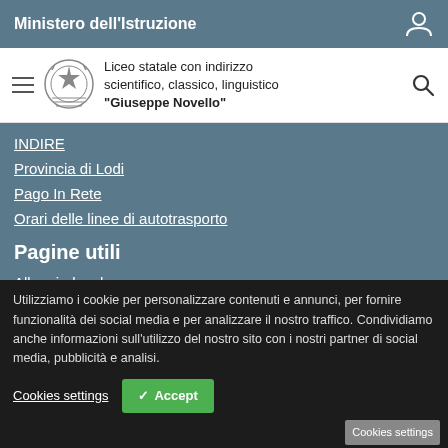Ministero dell'Istruzione
Liceo statale con indirizzo scientifico, classico, linguistico "Giuseppe Novello"
INDIRE
Provincia di Lodi
Pago In Rete
Orari delle linee di autotrasporto
Pagine utili
Albo sindacale
Contratto di assicurazione
Elenco dei fornitori
Graduatorie
Orari...
Pr...
Valorizzazione del m...
Utilizziamo i cookie per personalizzare contenuti e annunci, per fornire funzionalità dei social media e per analizzare il nostro traffico. Condividiamo anche informazioni sull'utilizzo del nostro sito con i nostri partner di social media, pubblicità e analisi.
Cookies settings
Accept